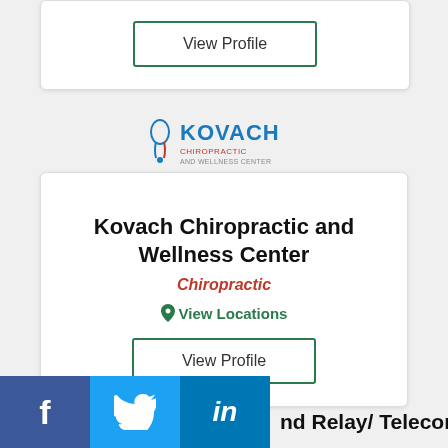[Figure (other): View Profile button in green border for top (partial) card]
[Figure (logo): Kovach Chiropractic and Wellness Center logo with spine figure and text]
Kovach Chiropractic and Wellness Center
Chiropractic
View Locations
View Profile
[Figure (logo): Maryland Relay Dial 7-1-1 logo with three circular icons]
nd Relay/ Telecommunications
[Figure (other): Social media icons: Facebook, Twitter, LinkedIn]